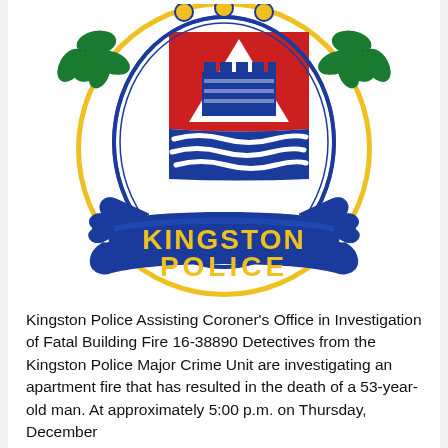[Figure (logo): Kingston Police official crest/badge logo. Features a heraldic shield with a red top section showing a white fortress/castle, a blue bottom section with white wavy lines representing water, surrounded by an oval with decorative border. Flanked by green maple leaf branches on a gold/yellow background on each side. Below the shield is a blue banner/scroll with gold text reading 'KINGSTON POLICE'.]
Kingston Police Assisting Coroner's Office in Investigation of Fatal Building Fire 16-38890 Detectives from the Kingston Police Major Crime Unit are investigating an apartment fire that has resulted in the death of a 53-year-old man. At approximately 5:00 p.m. on Thursday, December 22, 2016...